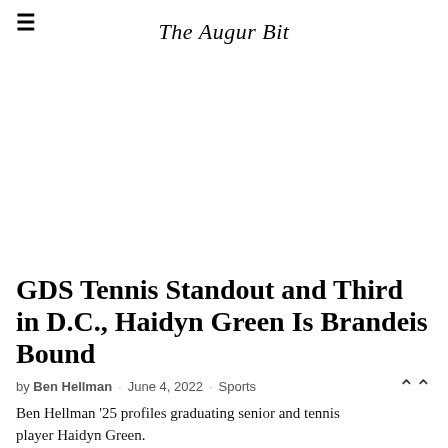The Augur Bit
GDS Tennis Standout and Third in D.C., Haidyn Green Is Brandeis Bound
by Ben Hellman · June 4, 2022 · Sports
Ben Hellman '25 profiles graduating senior and tennis player Haidyn Green.